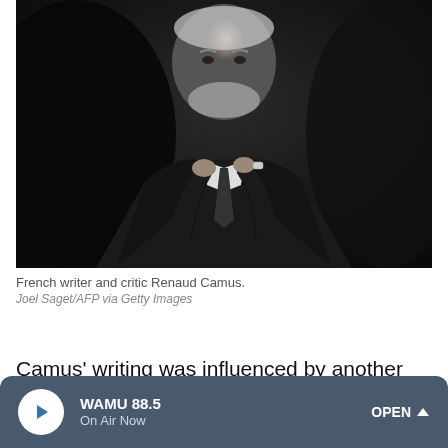[Figure (photo): Black and white portrait photograph of French writer and critic Renaud Camus, an older man with white hair and beard wearing a dark suit and tie, adjusting his tie against a dark background.]
French writer and critic Renaud Camus.
Joel Saget/AFP via Getty Images
Camus' writing was influenced by another French Author, Jean Raspail, whose 1973 novel, The Camp of the Saints
WAMU 88.5 On Air Now OPEN